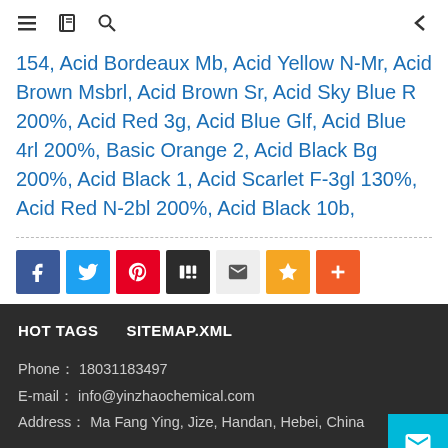≡  [book icon]  [search icon]  ←
154, Acid Bordeaux Mb, Acid Yellow N-Mr, Acid Brown Msbrl, Acid Brown Sr, Acid Sky Blue R 200%, Acid Red 3g, Acid Blue Glf, Acid Blue 4rl 200%, Basic Orange 2, Acid Black Bg 200%, Acid Black 1, Acid Scarlet F-3gl 130%, Acid Red N-2bl 200%, Acid Black 10b,
[Figure (infographic): Social share buttons: Facebook (blue), Twitter (light blue), Pinterest (red), Digg (dark gray), Email (light gray), Star/Bookmark (yellow/gold), Plus/More (orange)]
HOT TAGS    SITEMAP.XML
Phone： 18031183497
E-mail： info@yinzhaochemical.com
Address： Ma Fang Ying, Jize, Handan, Hebei, China
YOU CAN CONTACT US HEER